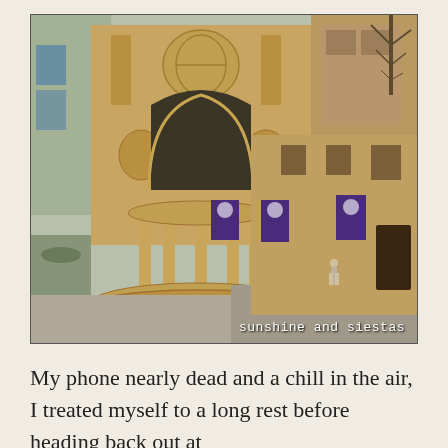[Figure (photo): Photograph of a historic Spanish plaza featuring an ornate stone fountain with arched canopy and columns in the foreground, a large stone building with baroque facade behind it, stone buildings with purple banners on the right, a lone figure walking in the plaza, and bare trees visible. Watermark reads 'sunshine and siestas' in the lower right corner.]
My phone nearly dead and a chill in the air, I treated myself to a long rest before heading back out at